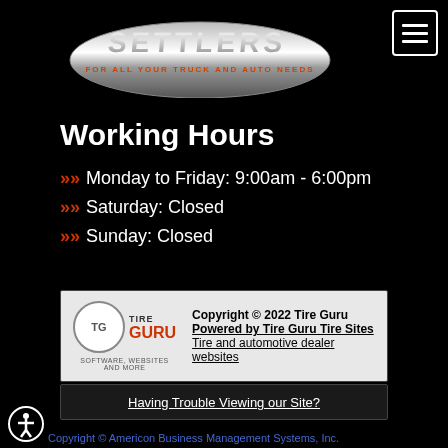[Figure (logo): Settlers truck and auto logo with silver chrome text and tagline 'FOR ALL YOUR TRUCK AND AUTO NEEDS']
[Figure (other): Hamburger menu button (three horizontal lines) in top right corner with white border]
Working Hours
Monday to Friday: 9:00am - 6:00pm
Saturday: Closed
Sunday: Closed
Copyright © 2022 Tire Guru Powered by Tire Guru Tire Sites Tire and automotive dealer websites
Having Trouble Viewing our Site?
Copyright © Americon Business Management Systems, Inc.